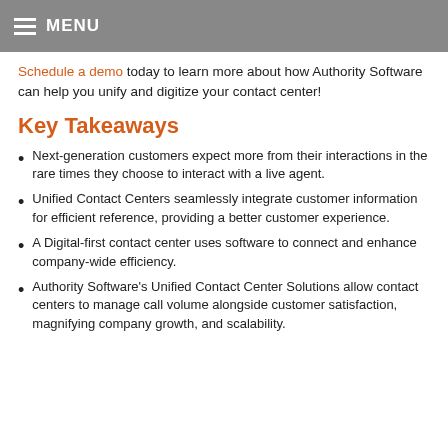MENU
Schedule a demo today to learn more about how Authority Software can help you unify and digitize your contact center!
Key Takeaways
Next-generation customers expect more from their interactions in the rare times they choose to interact with a live agent.
Unified Contact Centers seamlessly integrate customer information for efficient reference, providing a better customer experience.
A Digital-first contact center uses software to connect and enhance company-wide efficiency.
Authority Software's Unified Contact Center Solutions allow contact centers to manage call volume alongside customer satisfaction, magnifying company growth, and scalability.